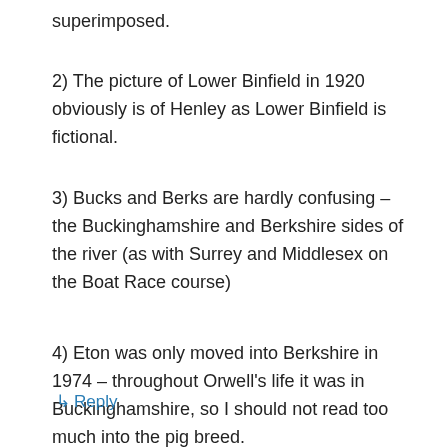superimposed.
2) The picture of Lower Binfield in 1920 obviously is of Henley as Lower Binfield is fictional.
3) Bucks and Berks are hardly confusing – the Buckinghamshire and Berkshire sides of the river (as with Surrey and Middlesex on the Boat Race course)
4) Eton was only moved into Berkshire in 1974 – throughout Orwell's life it was in Buckinghamshire, so I should not read too much into the pig breed.
↳ Reply